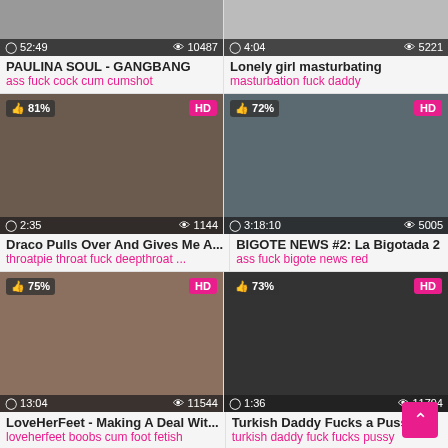[Figure (screenshot): Video thumbnail grid - adult video website listing]
PAULINA SOUL - GANGBANG
ass fuck cock cum cumshot
Lonely girl masturbating
masturbation fuck daddy
Draco Pulls Over And Gives Me A...
throatpie throat fuck deepthroat ...
BIGOTE NEWS #2: La Bigotada 2
ass fuck bigote news red
LoveHerFeet - Making A Deal Wit...
loveherfeet boobs cum foot fetish
Turkish Daddy Fucks a Pussy
turkish daddy fuck fucks pussy